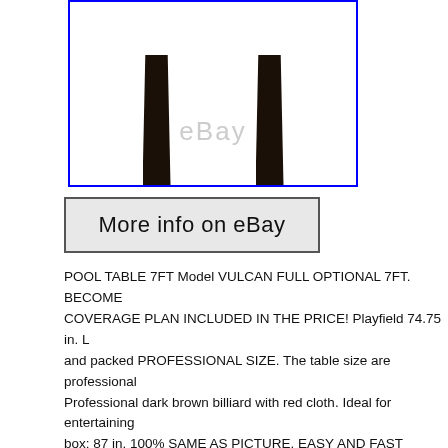[Figure (photo): Photo of pool table legs on a white background with eBay watermark, framed by a blue border]
[Figure (screenshot): Button/banner reading 'More info on eBay' with grey background and dark border]
POOL TABLE 7FT Model VULCAN FULL OPTIONAL 7FT. BECOME COVERAGE PLAN INCLUDED IN THE PRICE! Playfield 74.75 in. L and packed PROFESSIONAL SIZE. The table size are professional Professional dark brown billiard with red cloth. Ideal for entertaining box: 87 in. 100% SAME AS PICTURE. EASY AND FAST ASSEMBL Colour: dark brown with red cloth Size: 7 feet Playfield 74.75 in. W V Size: 84 in. Length x 48 in. Width x 31.50 in. Height Pocket diamete level the table. Accessories included in the package. 15 Numbered b with Cue Ball 6 Balls of different colours 6 cues (4 Standard Cues a Scoreboard Pool Table Cover Brush to clean the Cloth 2 chalks 2 Bl included. The driver will only able to drop off the goods on your curb TABLE Model VULCAN Snooker Full Accessories BECOME A BEAU Tuesday, March 13, 2018. This item is in the category "Sporting Goo